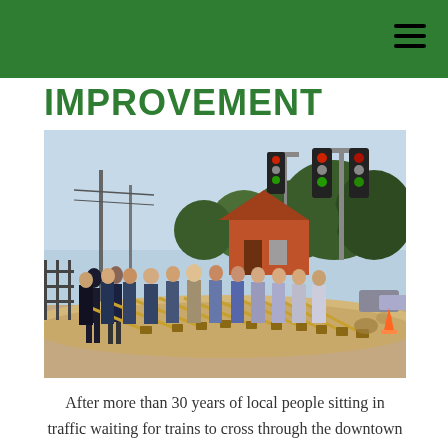IMPROVEMENT
[Figure (photo): Group of local, state, and federal officials holding golden shovels at a groundbreaking ceremony, standing in a row on a mound of sand at a road intersection with traffic lights visible in the background.]
After more than 30 years of local people sitting in traffic waiting for trains to cross through the downtown area, traffic will soon be easier to navigate in Mayflower. Local, state, and federal officials were on